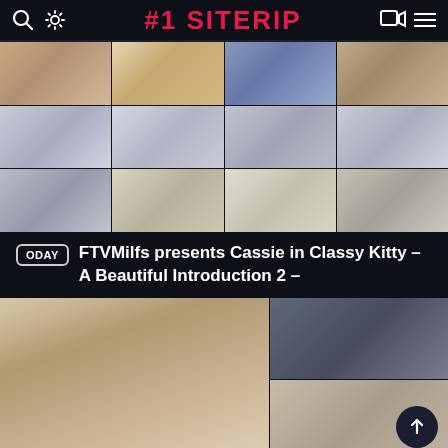#1 SITERIP
[Figure (photo): Grid of video thumbnails showing a woman in a white robe in a kitchen setting, multiple angles and poses across 12 cells]
ODAY  FTVMilfs presents Cassie in Classy Kitty – A Beautiful Introduction 2 –
[Figure (photo): Two-panel thumbnail grid showing adult content video previews]